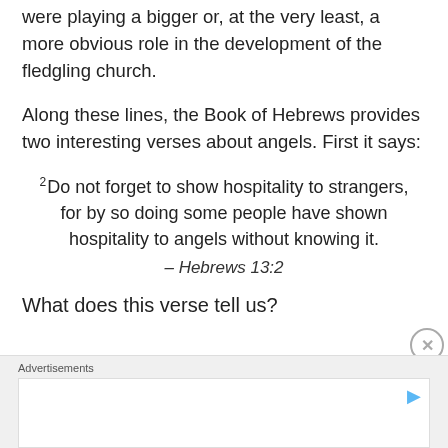were playing a bigger or, at the very least, a more obvious role in the development of the fledgling church.
Along these lines, the Book of Hebrews provides two interesting verses about angels. First it says:
2 Do not forget to show hospitality to strangers, for by so doing some people have shown hospitality to angels without knowing it.
– Hebrews 13:2
What does this verse tell us?
Advertisements